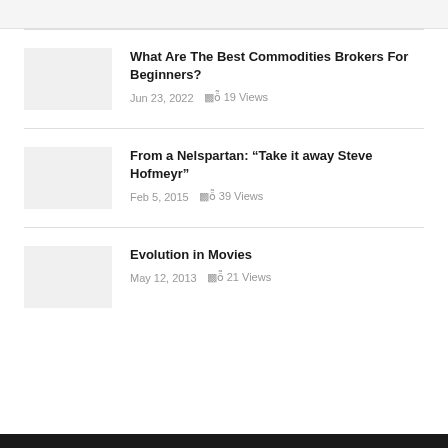What Are The Best Commodities Brokers For Beginners?
Jun 23, 2022   19 Views
From a Nelspartan: “Take it away Steve Hofmeyr”
Feb 5, 2015   39 Views
Evolution in Movies
May 12, 2013   21 Views